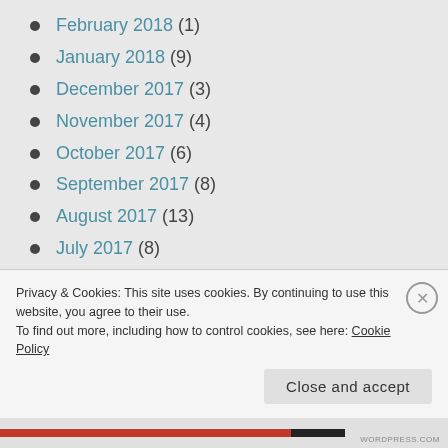February 2018 (1)
January 2018 (9)
December 2017 (3)
November 2017 (4)
October 2017 (6)
September 2017 (8)
August 2017 (13)
July 2017 (8)
June 2017 (4)
April 2017 (8)
March 2017 (7)
Privacy & Cookies: This site uses cookies. By continuing to use this website, you agree to their use. To find out more, including how to control cookies, see here: Cookie Policy
Close and accept